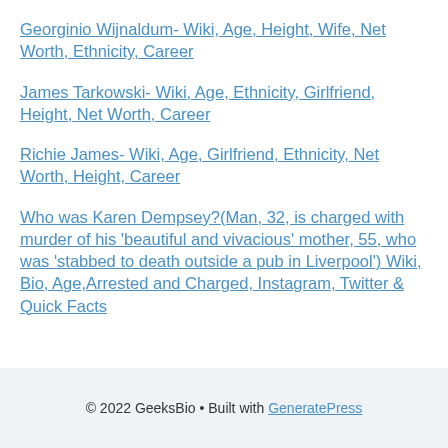Georginio Wijnaldum- Wiki, Age, Height, Wife, Net Worth, Ethnicity, Career
James Tarkowski- Wiki, Age, Ethnicity, Girlfriend, Height, Net Worth, Career
Richie James- Wiki, Age, Girlfriend, Ethnicity, Net Worth, Height, Career
Who was Karen Dempsey?(Man, 32, is charged with murder of his ‘beautiful and vivacious’ mother, 55, who was ‘stabbed to death outside a pub in Liverpool’) Wiki, Bio, Age,Arrested and Charged, Instagram, Twitter & Quick Facts
© 2022 GeeksBio • Built with GeneratePress